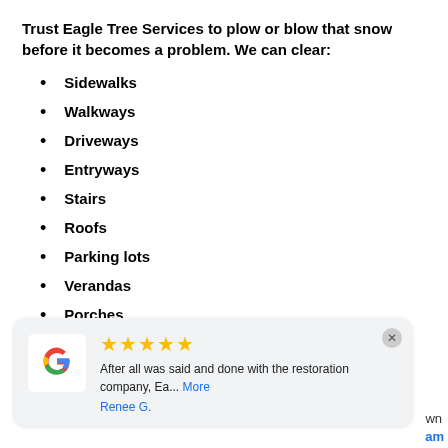Trust Eagle Tree Services to plow or blow that snow before it becomes a problem. We can clear:
Sidewalks
Walkways
Driveways
Entryways
Stairs
Roofs
Parking lots
Verandas
Porches
[Figure (screenshot): Google review card with 5 gold stars, Google logo, review text: 'After all was said and done with the restoration company, Ea... More' by Renee G.]